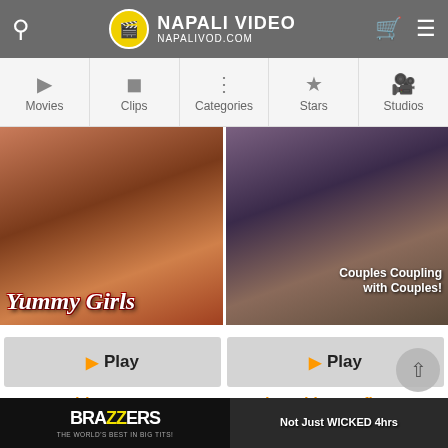NAPALI VIDEO NAPALIVOD.COM
[Figure (screenshot): Navigation bar with icons for Movies, Clips, Categories, Stars, Studios]
[Figure (photo): Thumbnail image for 'Yummy Girls' movie]
[Figure (photo): Thumbnail image for 'Couples Coupling with Couples!' movie]
Play
Play
Yummy Girls
Couples With Benefits
[Figure (logo): Brazzers logo - THE WORLD'S BEST IN BIG TITS!]
[Figure (photo): Wicked 4hrs promotional banner - Not Just WICKED 4hrs]